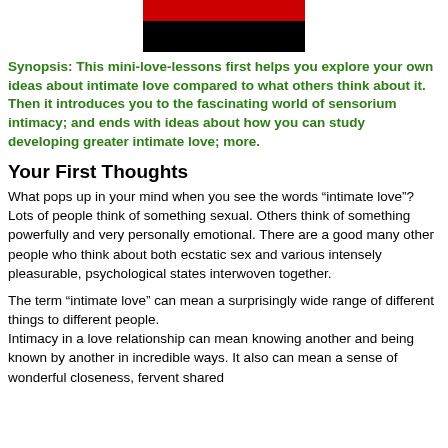[Figure (photo): Partial image of a book cover showing red and black colors at the top of the page]
Synopsis: This mini-love-lessons first helps you explore your own ideas about intimate love compared to what others think about it. Then it introduces you to the fascinating world of sensorium intimacy; and ends with ideas about how you can study developing greater intimate love; more.
Your First Thoughts
What pops up in your mind when you see the words “intimate love”? Lots of people think of something sexual. Others think of something powerfully and very personally emotional. There are a good many other people who think about both ecstatic sex and various intensely pleasurable, psychological states interwoven together.
The term “intimate love” can mean a surprisingly wide range of different things to different people.
Intimacy in a love relationship can mean knowing another and being known by another in incredible ways. It also can mean a sense of wonderful closeness, fervent shared...